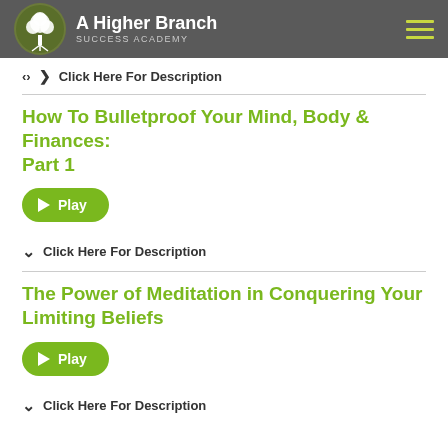[Figure (logo): A Higher Branch Success Academy logo with tree icon in dark grey header bar with hamburger menu]
Click Here For Description
How To Bulletproof Your Mind, Body & Finances: Part 1
[Figure (other): Green Play button]
Click Here For Description
The Power of Meditation in Conquering Your Limiting Beliefs
[Figure (other): Green Play button]
Click Here For Description